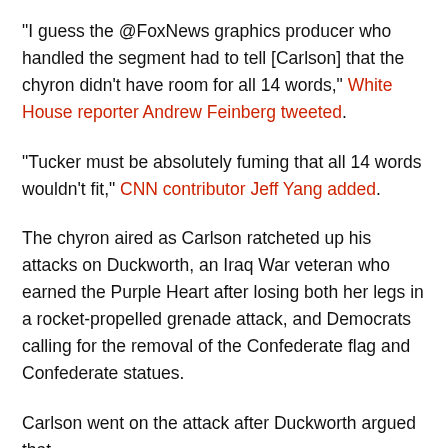"I guess the @FoxNews graphics producer who handled the segment had to tell [Carlson] that the chyron didn't have room for all 14 words," White House reporter Andrew Feinberg tweeted.
"Tucker must be absolutely fuming that all 14 words wouldn't fit," CNN contributor Jeff Yang added.
The chyron aired as Carlson ratcheted up his attacks on Duckworth, an Iraq War veteran who earned the Purple Heart after losing both her legs in a rocket-propelled grenade attack, and Democrats calling for the removal of the Confederate flag and Confederate statues.
Carlson went on the attack after Duckworth argued that